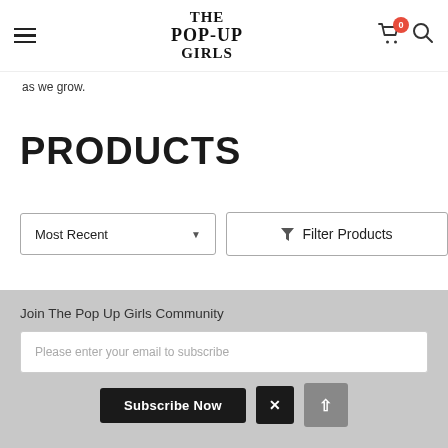THE POP-UP GIRLS — navigation header with hamburger menu, logo, cart (0), and search icon
as we grow.
PRODUCTS
Most Recent  ▼   Filter Products
Join The Pop Up Girls Community
Please enter your email to subscribe
Subscribe Now   ×   ↑